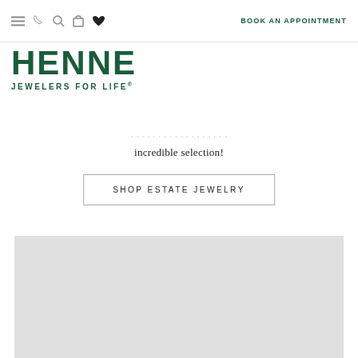≡  📞  🔍  🛍  ♥  BOOK AN APPOINTMENT
[Figure (logo): HENNE JEWELERS FOR LIFE® logo in dark green]
incredible selection!
SHOP ESTATE JEWELRY
[Figure (photo): Gray placeholder image block]